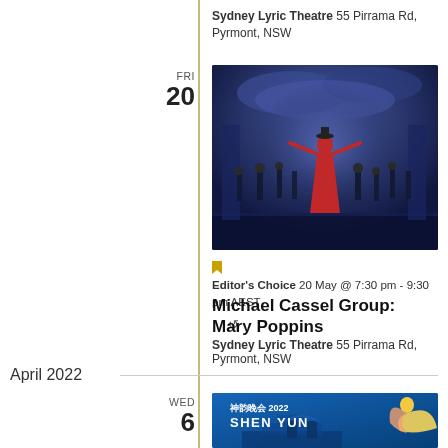Sydney Lyric Theatre 55 Pirrama Rd, Pyrmont, NSW
[Figure (photo): Stage performance photo of Mary Poppins musical — a performer in a red dress with arms outstretched surrounded by dancers on a blue-lit stage]
Editor's Choice 20 May @ 7:30 pm - 9:30 pm AEST
Michael Cassel Group: Mary Poppins
Sydney Lyric Theatre 55 Pirrama Rd, Pyrmont, NSW
April 2022
[Figure (photo): Shen Yun 2022 promotional banner — blue background with Chinese characters 神韵晚会 2022 and SHEN YUN logo, dancer in yellow and pink costume]